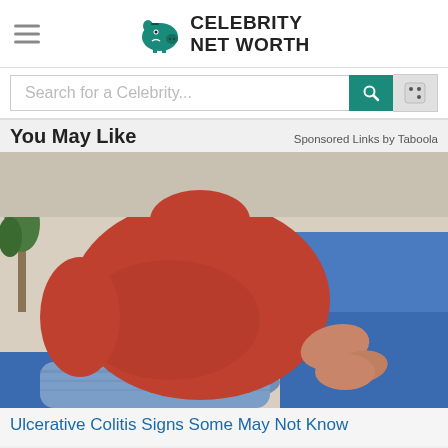Celebrity Net Worth
Search for a Celebrity...
You May Like
Sponsored Links by Taboola
[Figure (photo): Person in red shirt sitting on blue couch holding their abdomen/stomach in pain, wearing blue jeans]
Ulcerative Colitis Signs Some May Not Know